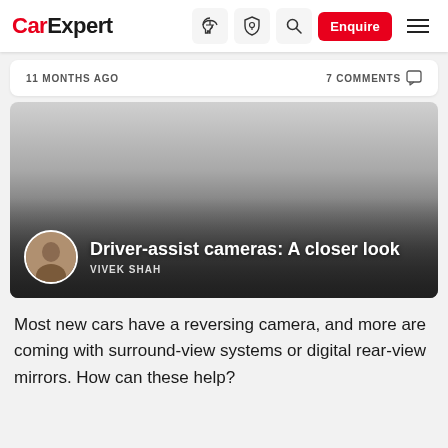CarExpert — navigation bar with logo, icons and Enquire button
11 MONTHS AGO    7 COMMENTS
[Figure (photo): Hero image card with gradient background (light grey to dark), author avatar circle, article title 'Driver-assist cameras: A closer look' and author name 'VIVEK SHAH']
Most new cars have a reversing camera, and more are coming with surround-view systems or digital rear-view mirrors. How can these help?